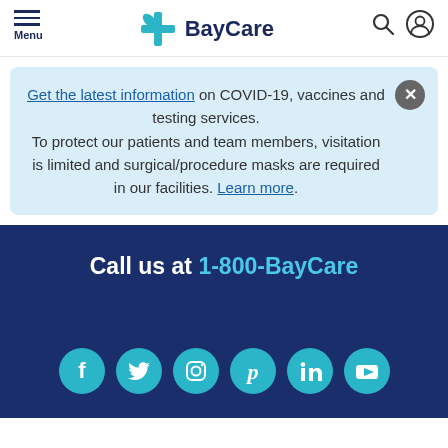Menu | BayCare
Get the latest information on COVID-19, vaccines and testing services. To protect our patients and team members, visitation is limited and surgical/procedure masks are required in our facilities. Learn more.
Call us at 1-800-BayCare
[Figure (other): Social media icons row: Facebook, Twitter, Instagram, Pinterest, LinkedIn, YouTube]